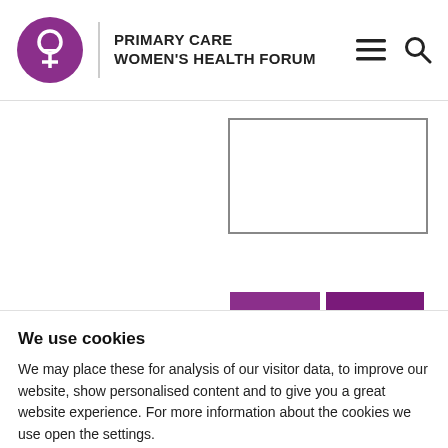PRIMARY CARE WOMEN'S HEALTH FORUM
[Figure (screenshot): Partial view of website banner with purple rectangles and text 'Global Voice for' visible]
We use cookies
We may place these for analysis of our visitor data, to improve our website, show personalised content and to give you a great website experience. For more information about the cookies we use open the settings.
Accept all
No, adjust